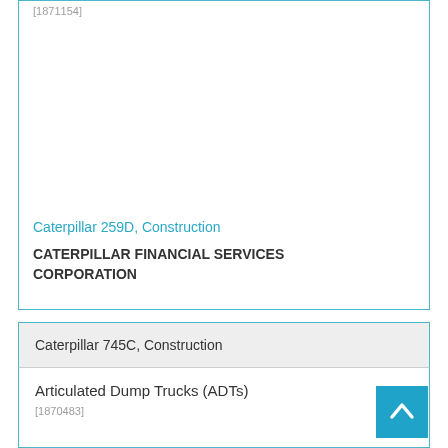[1871154]
Caterpillar 259D, Construction
CATERPILLAR FINANCIAL SERVICES CORPORATION
Caterpillar 745C, Construction
Articulated Dump Trucks (ADTs)
[1870483]